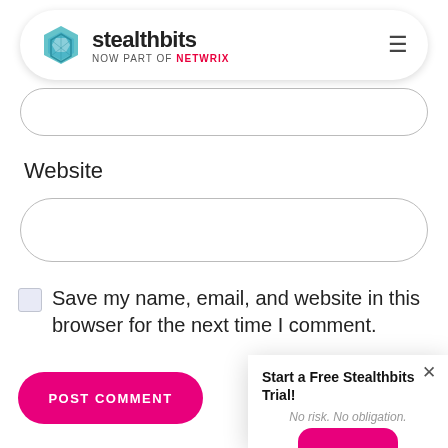[Figure (logo): Stealthbits logo with hexagonal icon in teal/blue, text 'stealthbits' in bold and 'NOW PART OF netwrix' below, with hamburger menu icon on right]
Website
Save my name, email, and website in this browser for the next time I comment.
POST COMMENT
Start a Free Stealthbits Trial!
No risk. No obligation.